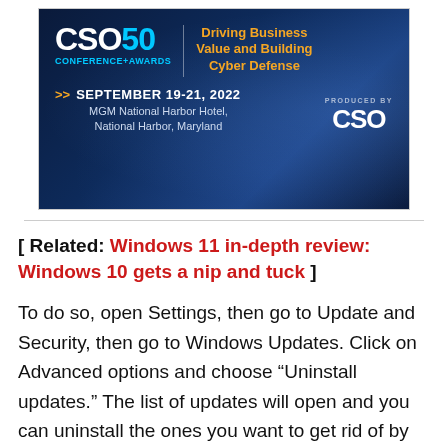[Figure (other): CSO50 Conference+Awards advertisement banner. Dark blue background with light effects. Logo: 'CSO50 CONFERENCE+AWARDS' with tagline 'Driving Business Value and Building Cyber Defense' in orange. Date: SEPTEMBER 19-21, 2022. Venue: MGM National Harbor Hotel, National Harbor, Maryland. Bottom right: PRODUCED BY CSO logo.]
[ Related: Windows 11 in-depth review: Windows 10 gets a nip and tuck ]
To do so, open Settings, then go to Update and Security, then go to Windows Updates. Click on Advanced options and choose “Uninstall updates.” The list of updates will open and you can uninstall the ones you want to get rid of by right-clicking on them. Once they’re uninstalled,